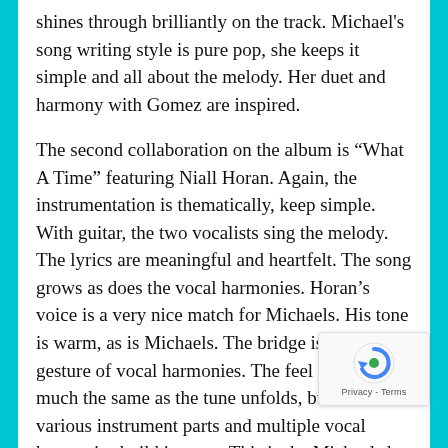shines through brilliantly on the track. Michael's song writing style is pure pop, she keeps it simple and all about the melody. Her duet and harmony with Gomez are inspired.
The second collaboration on the album is “What A Time” featuring Niall Horan. Again, the instrumentation is thematically, keep simple. With guitar, the two vocalists sing the melody. The lyrics are meaningful and heartfelt. The song grows as does the vocal harmonies. Horan’s voice is a very nice match for Michaels. His tone is warm, as is Michaels. The bridge is a grand gesture of vocal harmonies. The feel keeps pretty much the same as the tune unfolds, but the various instrument parts and multiple vocal harmonies build interest. This is the Michaels her best.
You can always expect something of quality when